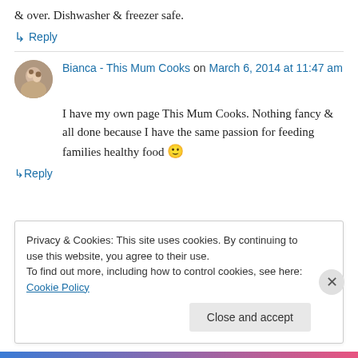& over. Dishwasher & freezer safe.
↳ Reply
Bianca - This Mum Cooks on March 6, 2014 at 11:47 am
I have my own page This Mum Cooks. Nothing fancy & all done because I have the same passion for feeding families healthy food 🙂
↳ Reply
Privacy & Cookies: This site uses cookies. By continuing to use this website, you agree to their use. To find out more, including how to control cookies, see here: Cookie Policy
Close and accept